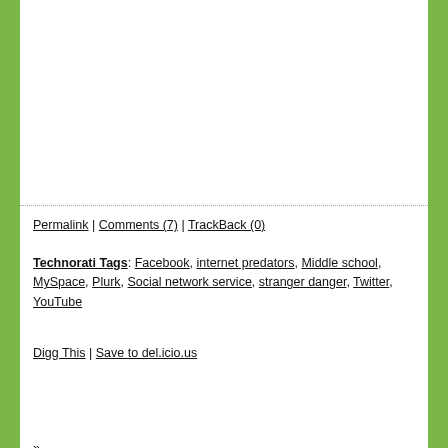Permalink | Comments (7) | TrackBack (0)
Technorati Tags: Facebook, internet predators, Middle school, MySpace, Plurk, Social network service, stranger danger, Twitter, YouTube
Digg This | Save to del.icio.us
»
WHAT'S PARENT TALK TODAY?
At Parent Talk Today, we chat about everything that's on your mind as a parent. Grab that Frappuccino and join us for book and movie reviews, videos, tips, a little whining, and a lot of fun. We're the next-door neighbor you wish you had!